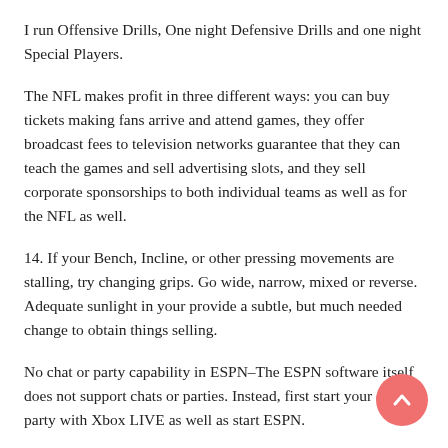I run Offensive Drills, One night Defensive Drills and one night Special Players.
The NFL makes profit in three different ways: you can buy tickets making fans arrive and attend games, they offer broadcast fees to television networks guarantee that they can teach the games and sell advertising slots, and they sell corporate sponsorships to both individual teams as well as for the NFL as well.
14. If your Bench, Incline, or other pressing movements are stalling, try changing grips. Go wide, narrow, mixed or reverse. Adequate sunlight in your provide a subtle, but much needed change to obtain things selling.
No chat or party capability in ESPN–The ESPN software itself does not support chats or parties. Instead, first start your chat or party with Xbox LIVE as well as start ESPN.